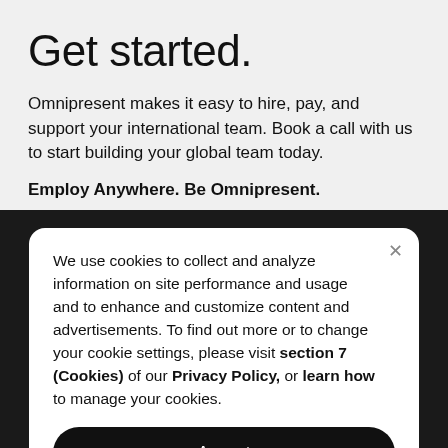Get started.
Omnipresent makes it easy to hire, pay, and support your international team. Book a call with us to start building your global team today.
Employ Anywhere. Be Omnipresent.
We use cookies to collect and analyze information on site performance and usage and to enhance and customize content and advertisements. To find out more or to change your cookie settings, please visit section 7 (Cookies) of our Privacy Policy, or learn how to manage your cookies.
Accept